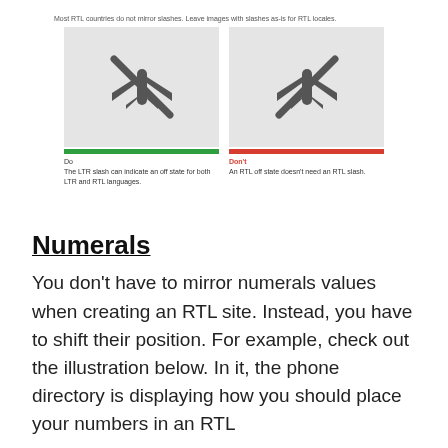[Figure (illustration): Two side-by-side panels showing airplane mode icons. Left panel (Do): LTR slash airplane icon on grey background with green bar, caption explains LTR slash indicates off state for both LTR and RTL. Right panel (Don't): mirrored RTL slash airplane icon on grey background with red bar, caption says RTL off state doesn't need an RTL slash. Above both: caption text 'Most RTL countries do not mirror slashes. Leave images with slashes as-is for RTL locales.']
Numerals
You don't have to mirror numerals values when creating an RTL site. Instead, you have to shift their position. For example, check out the illustration below. In it, the phone directory is displaying how you should place your numbers in an RTL